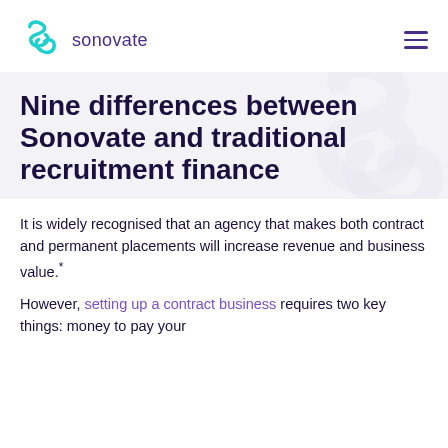sonovate
Nine differences between Sonovate and traditional recruitment finance
It is widely recognised that an agency that makes both contract and permanent placements will increase revenue and business value.*
However, setting up a contract business requires two key things: money to pay your